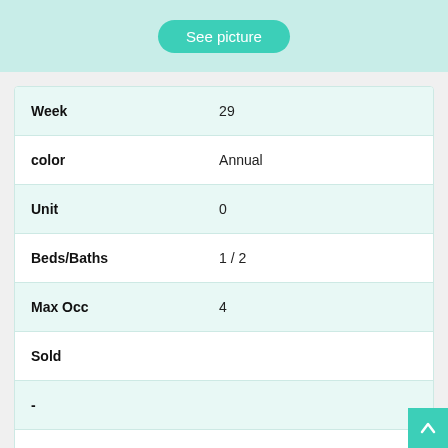[Figure (screenshot): See picture button on teal/mint background banner]
| Field | Value |
| --- | --- |
| Week | 29 |
| color | Annual |
| Unit | 0 |
| Beds/Baths | 1 / 2 |
| Max Occ | 4 |
| Sold |  |
| - |  |
| Comments | Annual fees are $670 approx. |